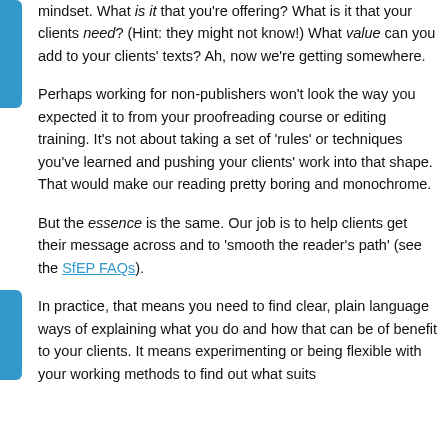mindset. What is it that you're offering? What is it that your clients need? (Hint: they might not know!) What value can you add to your clients' texts? Ah, now we're getting somewhere.
Perhaps working for non-publishers won't look the way you expected it to from your proofreading course or editing training. It's not about taking a set of 'rules' or techniques you've learned and pushing your clients' work into that shape. That would make our reading pretty boring and monochrome.
But the essence is the same. Our job is to help clients get their message across and to 'smooth the reader's path' (see the SfEP FAQs).
In practice, that means you need to find clear, plain language ways of explaining what you do and how that can be of benefit to your clients. It means experimenting or being flexible with your working methods to find out what suits